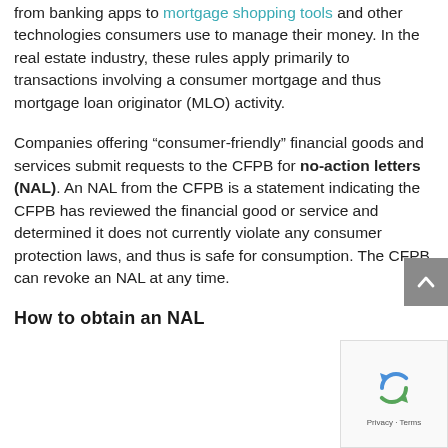from banking apps to mortgage shopping tools and other technologies consumers use to manage their money. In the real estate industry, these rules apply primarily to transactions involving a consumer mortgage and thus mortgage loan originator (MLO) activity.
Companies offering “consumer-friendly” financial goods and services submit requests to the CFPB for no-action letters (NAL). An NAL from the CFPB is a statement indicating the CFPB has reviewed the financial good or service and determined it does not currently violate any consumer protection laws, and thus is safe for consumption. The CFPB can revoke an NAL at any time.
How to obtain an NAL